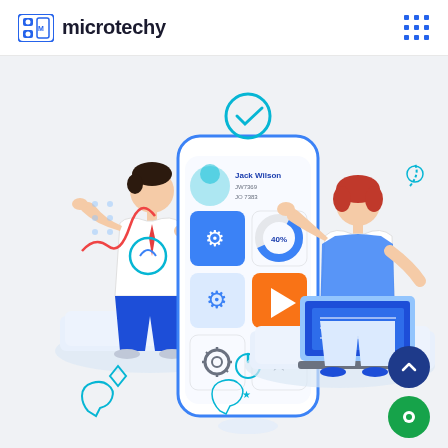microtechy
[Figure (illustration): Isometric illustration of two people interacting with a large smartphone UI. Left: a man in white shirt and blue pants sitting on a platform, touching a data dashboard screen with graphs and charts. Center: a large smartphone showing a tiled app interface with icons including a puzzle piece, video play button, settings gear, and a donut chart, with profile info 'Jack Wilson' at top. Right: a woman with red hair in a blue outfit sitting on a white platform holding a laptop, gesturing with her hand. The background is light gray/white with floating tech icons.]